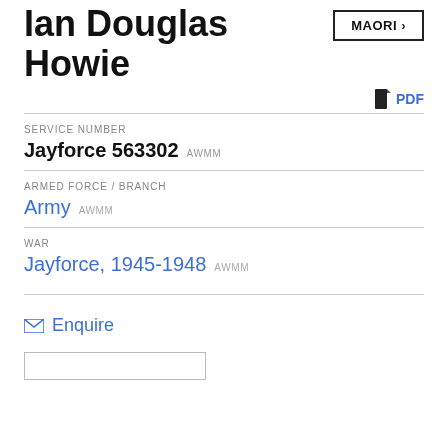Ian Douglas Howie
MAORI ›
PDF
SERVICE NUMBER
Jayforce 563302 AWMM
ARMED FORCE / BRANCH
Army AWMM
WAR
Jayforce, 1945-1948 AWMM
Enquire